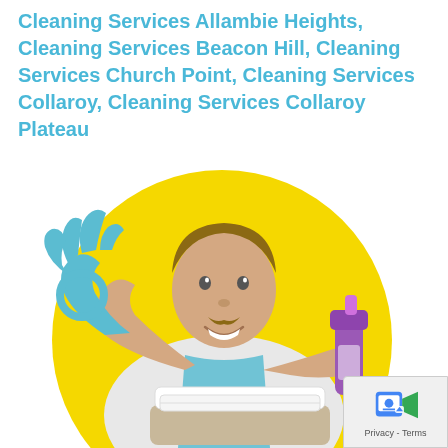Cleaning Services Allambie Heights, Cleaning Services Beacon Hill, Cleaning Services Church Point, Cleaning Services Collaroy, Cleaning Services Collaroy Plateau
[Figure (photo): A smiling man wearing blue rubber gloves and a blue apron making an OK gesture with one hand and holding a purple spray bottle in the other, with white folded towels in a basket, set against a large yellow circle background]
Privacy - Terms